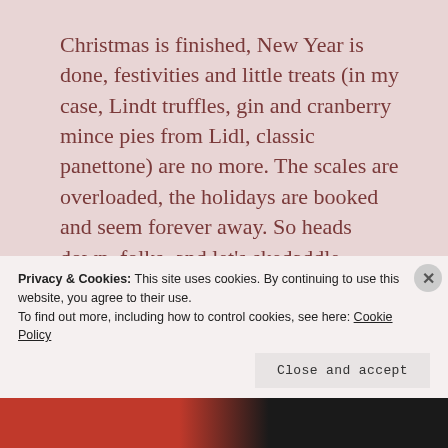Christmas is finished, New Year is done, festivities and little treats (in my case, Lindt truffles, gin and cranberry mince pies from Lidl, classic panettone) are no more. The scales are overloaded, the holidays are booked and seem forever away. So heads down, folks, and let's skedaddle through to February 1st,  St Brigid's day, which many in Ireland consider the first day of Spring. From then on in, life will
Privacy & Cookies: This site uses cookies. By continuing to use this website, you agree to their use.
To find out more, including how to control cookies, see here: Cookie Policy
Close and accept